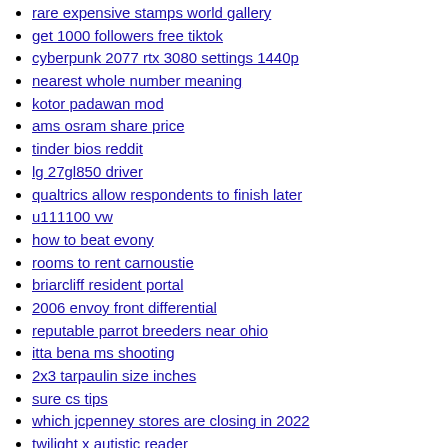rare expensive stamps world gallery
get 1000 followers free tiktok
cyberpunk 2077 rtx 3080 settings 1440p
nearest whole number meaning
kotor padawan mod
ams osram share price
tinder bios reddit
lg 27gl850 driver
qualtrics allow respondents to finish later
u111100 vw
how to beat evony
rooms to rent carnoustie
briarcliff resident portal
2006 envoy front differential
reputable parrot breeders near ohio
itta bena ms shooting
2x3 tarpaulin size inches
sure cs tips
which jcpenney stores are closing in 2022
twilight x autistic reader
vision keyboard
bie amazon teamblind
treuting veterinary house calls
ct shoplifting laws
who is running for office in oregon